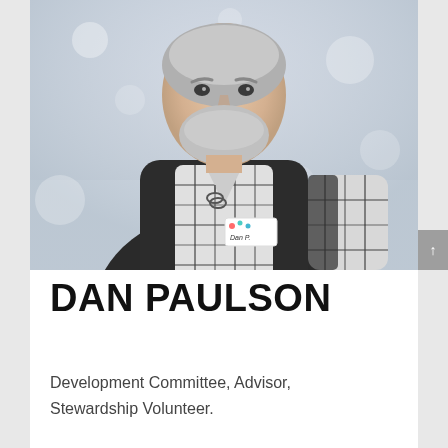[Figure (photo): Outdoor photo of Dan Paulson, a middle-aged man with grey hair and beard, smiling, wearing a dark vest over a plaid shirt with sunglasses hanging from the collar and a name tag reading 'Dan P.', with a snowy blurred background.]
DAN PAULSON
Development Committee, Advisor, Stewardship Volunteer.